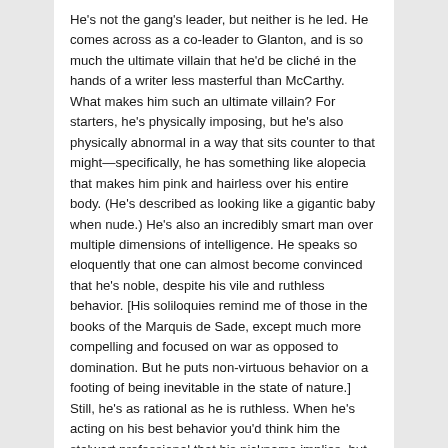He's not the gang's leader, but neither is he led. He comes across as a co-leader to Glanton, and is so much the ultimate villain that he'd be cliché in the hands of a writer less masterful than McCarthy. What makes him such an ultimate villain? For starters, he's physically imposing, but he's also physically abnormal in a way that sits counter to that might—specifically, he has something like alopecia that makes him pink and hairless over his entire body. (He's described as looking like a gigantic baby when nude.) He's also an incredibly smart man over multiple dimensions of intelligence. He speaks so eloquently that one can almost become convinced that he's noble, despite his vile and ruthless behavior. [His soliloquies remind me of those in the books of the Marquis de Sade, except much more compelling and focused on war as opposed to domination. But he puts non-virtuous behavior on a footing of being inevitable in the state of nature.] Still, he's as rational as he is ruthless. When he's acting on his best behavior you'd think him the stalwart professional that his nickname implies, but when he's vicious he's vicious without shame or guilt.